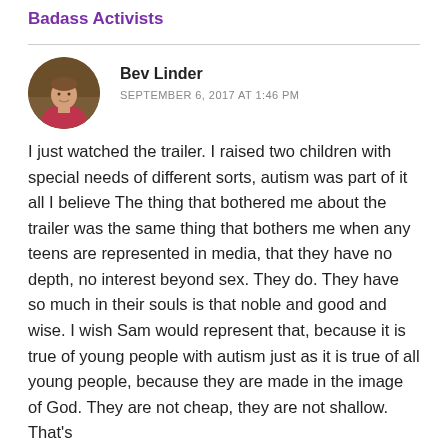Badass Activists
Bev Linder
SEPTEMBER 6, 2017 AT 1:46 PM
I just watched the trailer. I raised two children with special needs of different sorts, autism was part of it all I believe The thing that bothered me about the trailer was the same thing that bothers me when any teens are represented in media, that they have no depth, no interest beyond sex. They do. They have so much in their souls is that noble and good and wise. I wish Sam would represent that, because it is true of young people with autism just as it is true of all young people, because they are made in the image of God. They are not cheap, they are not shallow. That's